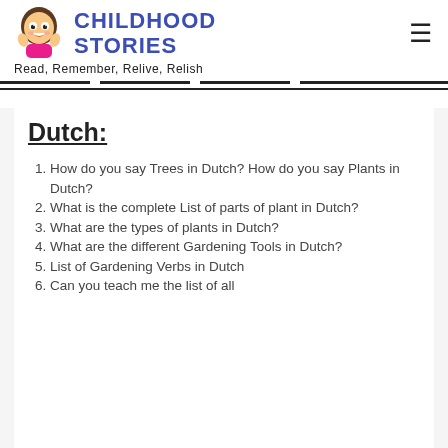CHILDHOOD STORIES — Read, Remember, Relive, Relish
Dutch:
How do you say Trees in Dutch? How do you say Plants in Dutch?
What is the complete List of parts of plant in Dutch?
What are the types of plants in Dutch?
What are the different Gardening Tools in Dutch?
List of Gardening Verbs in Dutch
Can you teach me the list of all